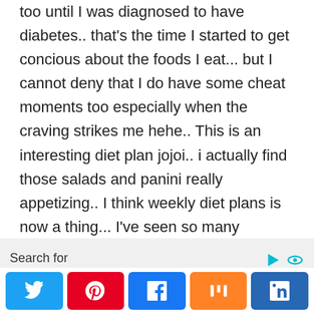too until I was diagnosed to have diabetes.. that's the time I started to get concious about the foods I eat... but I cannot deny that I do have some cheat moments too especially when the craving strikes me hehe.. This is an interesting diet plan jojoi.. i actually find those salads and panini really appetizing.. I think weekly diet plans is now a thing... I've seen so many celebrities embracing this kind of diet na eh..
Search for